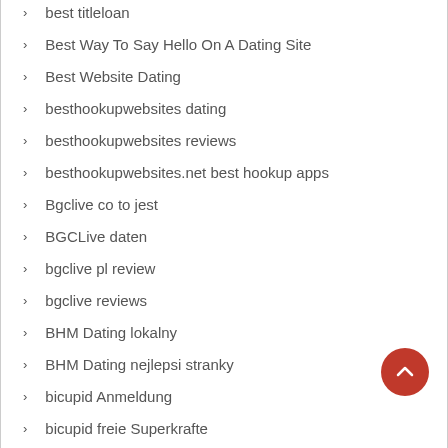best titleloan
Best Way To Say Hello On A Dating Site
Best Website Dating
besthookupwebsites dating
besthookupwebsites reviews
besthookupwebsites.net best hookup apps
Bgclive co to jest
BGCLive daten
bgclive pl review
bgclive reviews
BHM Dating lokalny
BHM Dating nejlepsi stranky
bicupid Anmeldung
bicupid freie Superkrafte
biggercity login
biggercity online dating